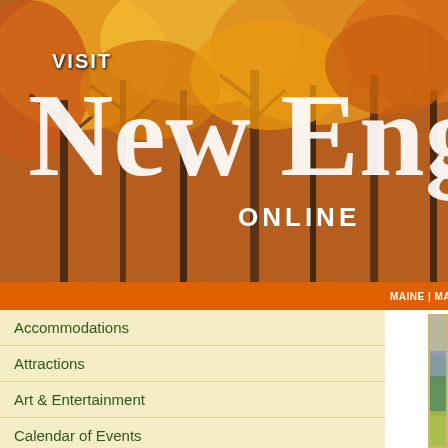[Figure (photo): Website header banner showing autumn foliage trees with orange and yellow fall colors. Text overlay reads 'VISIT New England ONLINE']
MAINE | MASSACHUSETTS |
Accommodations
Attractions
Art & Entertainment
Calendar of Events
Dining
Sports & Outdoors
Health & Fitness
On The Water
Shopping
Visiting New England
Contact Us
[Figure (illustration): Impressionist-style oil painting of New England autumn landscape with colorful trees, mountains in background with pink sky, lush foliage in greens, yellows, oranges and reds]